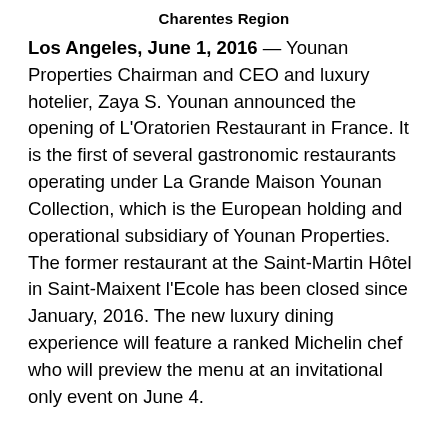Charentes Region
Los Angeles, June 1, 2016 — Younan Properties Chairman and CEO and luxury hotelier, Zaya S. Younan announced the opening of L'Oratorien Restaurant in France. It is the first of several gastronomic restaurants operating under La Grande Maison Younan Collection, which is the European holding and operational subsidiary of Younan Properties. The former restaurant at the Saint-Martin Hôtel in Saint-Maixent l'Ecole has been closed since January, 2016. The new luxury dining experience will feature a ranked Michelin chef who will preview the menu at an invitational only event on June 4.